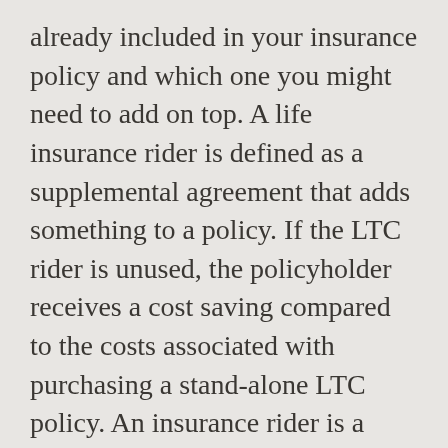already included in your insurance policy and which one you might need to add on top. A life insurance rider is defined as a supplemental agreement that adds something to a policy. If the LTC rider is unused, the policyholder receives a cost saving compared to the costs associated with purchasing a stand-alone LTC policy. An insurance rider is a slight tweak to your policy that allows you to increase the overall coverage of your home insurance for specific categories. Another concern with riders is that they can provide duplicate coverage, so be sure to examine the terms of the basic policy to see if the rider is really needed. What is a rider? Term life insurance is a type of life insurance that guarantees